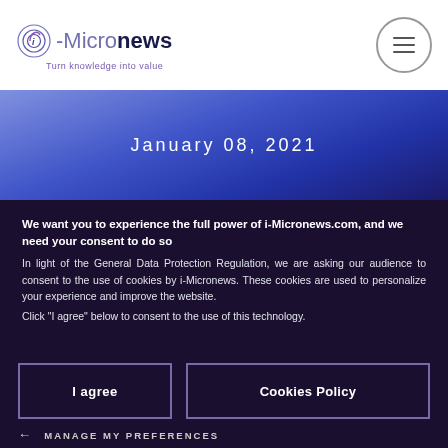[Figure (logo): i-MicroNews logo with circular spiral icon and tagline 'Turn knowledge into value']
January 08, 2021
We want you to experience the full power of i-Micronews.com, and we need your consent to do so
In light of the General Data Protection Regulation, we are asking our audience to consent to the use of cookies by i-Micronews. These cookies are used to personalize your experience and improve the website.
Click "I agree" below to consent to the use of this technology.
I agree
Cookies Policy
← MANAGE MY PREFERENCES